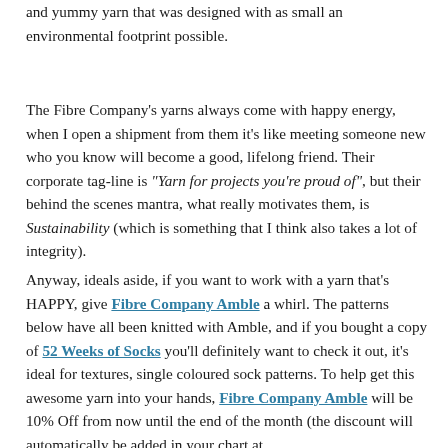and yummy yarn that was designed with as small an environmental footprint possible.
The Fibre Company's yarns always come with happy energy, when I open a shipment from them it's like meeting someone new who you know will become a good, lifelong friend. Their corporate tag-line is "Yarn for projects you're proud of", but their behind the scenes mantra, what really motivates them, is Sustainability (which is something that I think also takes a lot of integrity).
Anyway, ideals aside, if you want to work with a yarn that's HAPPY, give Fibre Company Amble a whirl. The patterns below have all been knitted with Amble, and if you bought a copy of 52 Weeks of Socks you'll definitely want to check it out, it's ideal for textures, single coloured sock patterns. To help get this awesome yarn into your hands, Fibre Company Amble will be 10% Off from now until the end of the month (the discount will automatically be added in your chart at